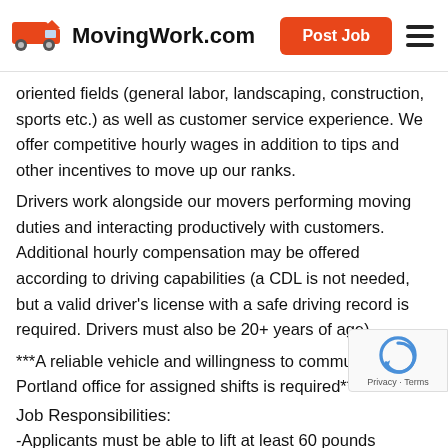MovingWork.com
oriented fields (general labor, landscaping, construction, sports etc.) as well as customer service experience. We offer competitive hourly wages in addition to tips and other incentives to move up our ranks.
Drivers work alongside our movers performing moving duties and interacting productively with customers. Additional hourly compensation may be offered according to driving capabilities (a CDL is not needed, but a valid driver's license with a safe driving record is required. Drivers must also be 20+ years of age).
***A reliable vehicle and willingness to commute to our Portland office for assigned shifts is required***
Job Responsibilities:
-Applicants must be able to lift at least 60 pounds